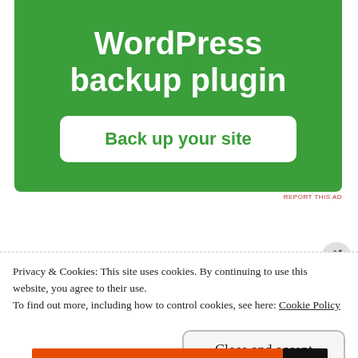[Figure (screenshot): Green advertisement banner for a WordPress backup plugin with 'Back up your site' button]
REPORT THIS AD
Privacy & Cookies: This site uses cookies. By continuing to use this website, you agree to their use.
To find out more, including how to control cookies, see here: Cookie Policy
Close and accept